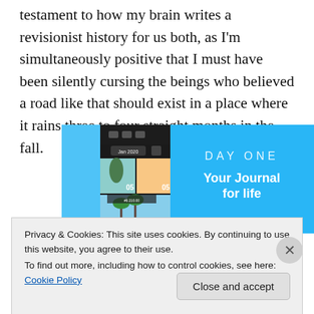testament to how my brain writes a revisionist history for us both, as I'm simultaneously positive that I must have been silently cursing the beings who believed a road like that should exist in a place where it rains three to four straight months in the fall.
[Figure (screenshot): Day One app advertisement showing a mobile app screenshot on the left with a journal interface, and a blue panel on the right with 'DAY ONE' and 'Your Journal for life' text.]
Privacy & Cookies: This site uses cookies. By continuing to use this website, you agree to their use.
To find out more, including how to control cookies, see here: Cookie Policy